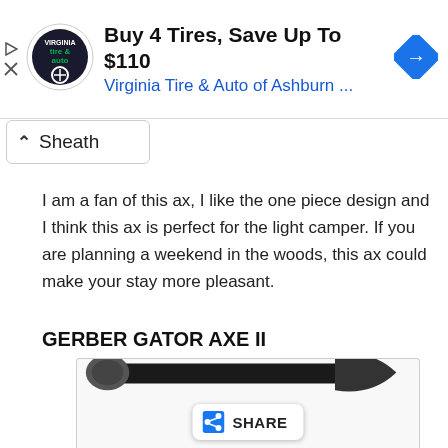[Figure (screenshot): Advertisement banner for Virginia Tire & Auto of Ashburn with logo, headline 'Buy 4 Tires, Save Up To $110', subtext 'Virginia Tire & Auto of Ashburn ...', and a blue diamond navigation arrow icon. Small play and close icons on left edge.]
Sheath
I am a fan of this ax, I like the one piece design and I think this ax is perfect for the light camper. If you are planning a weekend in the woods, this ax could make your stay more pleasant.
GERBER GATOR AXE II
[Figure (photo): Product photo of the Gerber Gator Axe II — a black axe shown horizontally. A Share button overlay is visible in the lower center of the image.]